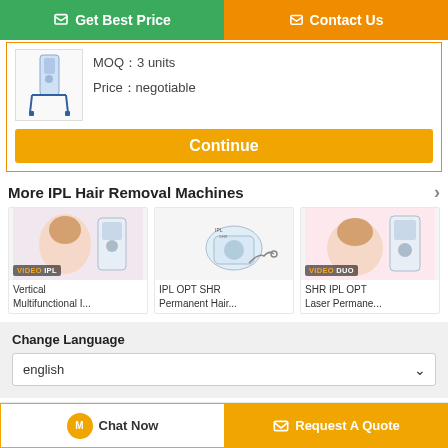Get Best Price
Contact Us
MOQ：3 units
Price：negotiable
Continue
More  IPL Hair Removal Machines
[Figure (photo): Vertical Multifunctional IPL device product card with VIDEO IPL badge]
Vertical Multifunctional I...
[Figure (photo): IPL OPT SHR Permanent Hair removal device product card]
IPL OPT SHR Permanent Hair...
[Figure (photo): SHR IPL OPT Laser permanent device product card with VIDEO DUO badge]
SHR IPL OPT Laser Permane...
Change Language
english
Chat Now
Request A Quote